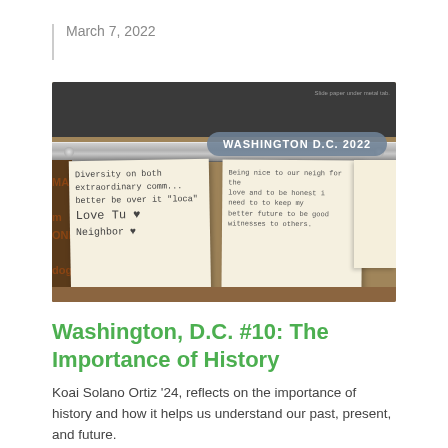March 7, 2022
[Figure (photo): Photo of a museum or exhibit display with sticky notes attached to a metal rail. The sticky notes have handwritten messages. A badge overlay reads 'WASHINGTON D.C. 2022'. Background banners read 'MAKE GOOD PROMISES'.]
Washington, D.C. #10: The Importance of History
Koai Solano Ortiz '24, reflects on the importance of history and how it helps us understand our past, present, and future.